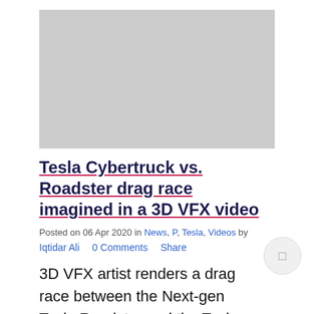[Figure (photo): Gray placeholder image rectangle representing a video thumbnail]
Tesla Cybertruck vs. Roadster drag race imagined in a 3D VFX video
Posted on 06 Apr 2020 in News, P, Tesla, Videos by Iqtidar Ali   0 Comments   Share
3D VFX artist renders a drag race between the Next-gen Tesla Roadster and the Tesla